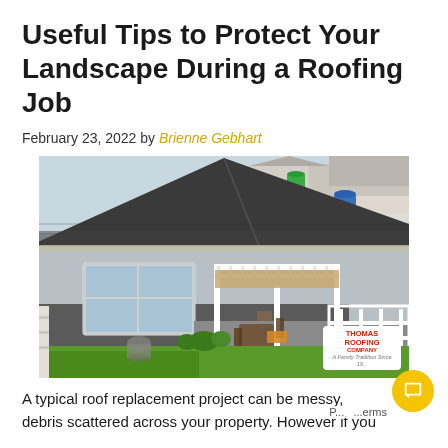Useful Tips to Protect Your Landscape During a Roofing Job
February 23, 2022 by Brienne Gebhart
[Figure (photo): Aerial view of a house with a dark shingle roof, white pergola patio with outdoor furniture and a tan shade cover, green lawn, and landscaping in the backyard.]
A typical roof replacement project can be messy, debris scattered across your property. However if you